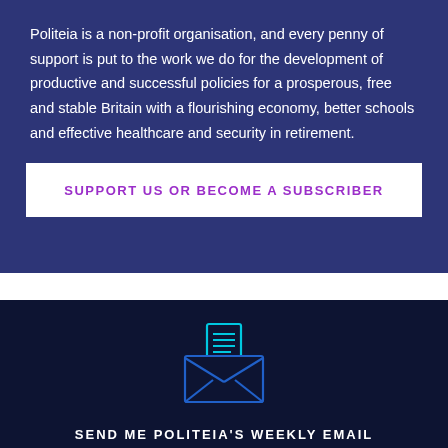Politeia is a non-profit organisation, and every penny of support is put to the work we do for the development of productive and successful policies for a prosperous, free and stable Britain with a flourishing economy, better schools and effective healthcare and security in retirement.
SUPPORT US OR BECOME A SUBSCRIBER
[Figure (illustration): Email/envelope icon with a document inside, outlined in blue/cyan on dark navy background]
SEND ME POLITEIA'S WEEKLY EMAIL